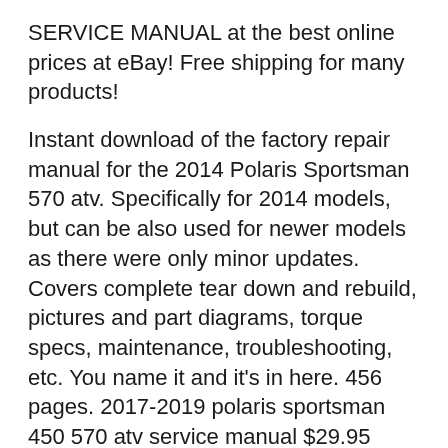SERVICE MANUAL at the best online prices at eBay! Free shipping for many products!
Instant download of the factory repair manual for the 2014 Polaris Sportsman 570 atv. Specifically for 2014 models, but can be also used for newer models as there were only minor updates. Covers complete tear down and rebuild, pictures and part diagrams, torque specs, maintenance, troubleshooting, etc. You name it and it's in here. 456 pages. 2017-2019 polaris sportsman 450 570 atv service manual $29.95 $19.95 on sale on sale 2017-2019 polaris ace 900 orv's service manual $29.95 $19.95 on sale on sale 2017